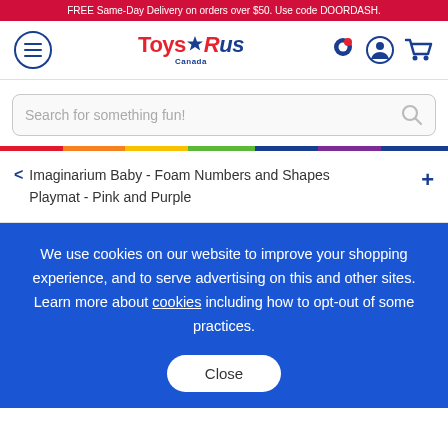FREE Same-Day Delivery on orders over $50. Use code DOORDASH.
[Figure (screenshot): Toys R Us Canada navigation bar with hamburger menu, logo, location pin, account, and cart icons]
[Figure (screenshot): Search bar with placeholder text 'Search for something fun!' and magnifying glass icon]
[Figure (infographic): Rainbow colored horizontal divider bar]
< Imaginarium Baby - Foam Numbers and Shapes Playmat - Pink and Purple +
We use cookies on our website to improve your shopping experience, and to serve advertising on this and other sites. Learn more about cookies including how to opt-out of some practices.